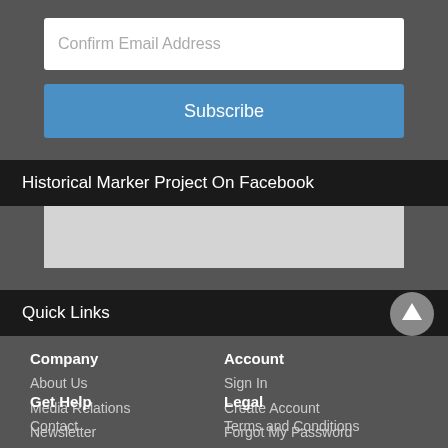Confirm Email Address
Subscribe
Historical Marker Project On Facebook
[Figure (other): Facebook embed placeholder box (light gray rectangle)]
Quick Links
Company
About Us
Media Relations
Newsletter
Direct Email
Account
Sign In
Create Account
Forgot My Password
Forgot My Username
Get Help
Contact
Legal
Terms and Conditions